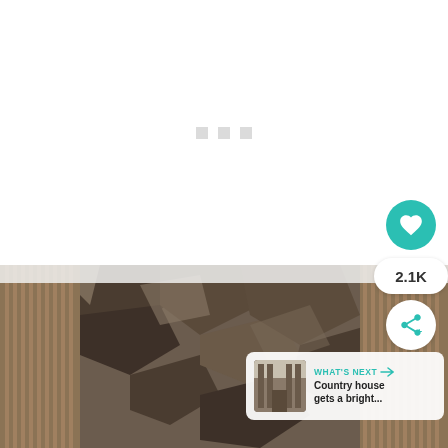[Figure (other): White loading area with three small grey square dots centered, indicating content loading state]
[Figure (photo): Interior architectural photo showing textured stone wall with natural rock cladding and vertical wood slat panels on either side]
[Figure (infographic): UI overlay with teal heart/like button showing 2.1K likes, a white share button, and a 'What's Next' card showing a thumbnail of a country house interior with caption 'Country house gets a bright...']